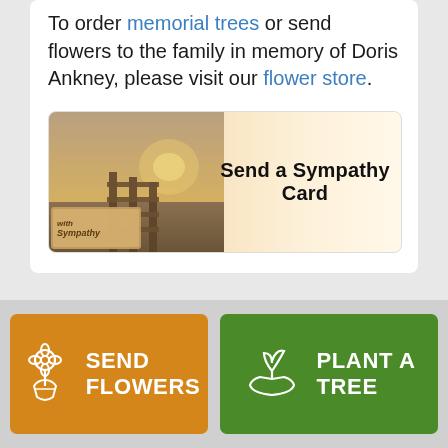To order memorial trees or send flowers to the family in memory of Doris Ankney, please visit our flower store.
[Figure (illustration): Sympathy card banner with image of a dock over water at sunset on the left and bold text 'Send a Sympathy Card' on a warm gradient background]
SEND FLOWERS
PLANT A TREE